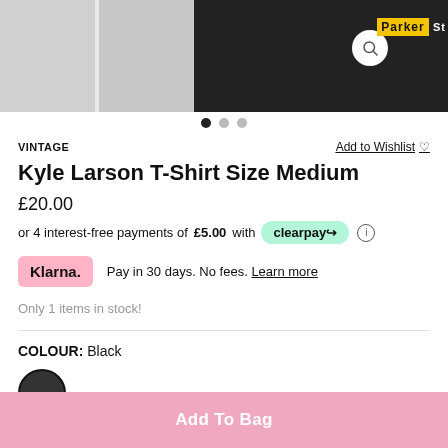[Figure (photo): Product images strip at top showing two grey placeholder images on the left and a dark motorsport/racing graphic on the right with Parker branding]
VINTAGE
Add to Wishlist ♡
Kyle Larson T-Shirt Size Medium
£20.00
or 4 interest-free payments of £5.00 with clearpay
Klarna. Pay in 30 days. No fees. Learn more
Only 1 items in stock!
COLOUR: Black
Add To Bag